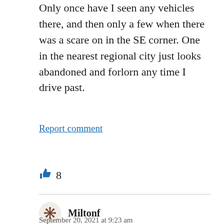Only once have I seen any vehicles there, and then only a few when there was a scare on in the SE corner. One in the nearest regional city just looks abandoned and forlorn any time I drive past.
Report comment
8
Miltonf
September 20, 2021 at 9:23 am